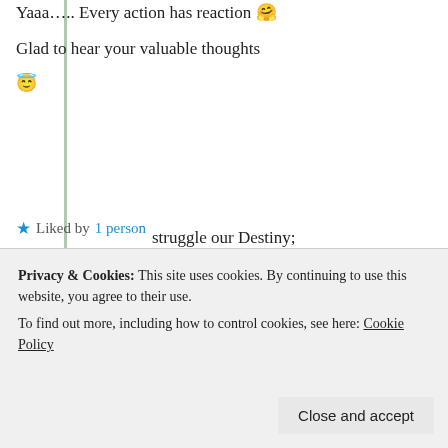Yaaa….. Every action has reaction 🤗
Glad to hear your valuable thoughts
😇
★ Liked by 1 person
↪ Reply
[Figure (photo): Circular avatar photo of theexiledexhorter user, wearing a yellow NY Yankees cap and sunglasses]
theexiledexhorter
Privacy & Cookies: This site uses cookies. By continuing to use this website, you agree to their use.
To find out more, including how to control cookies, see here: Cookie Policy
Close and accept
struggle our Destiny;